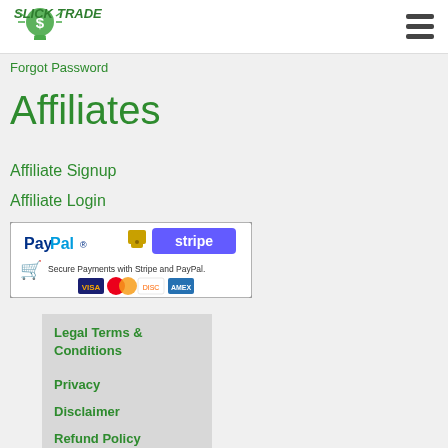SlickTrade (logo) | hamburger menu
Forgot Password
Affiliates
Affiliate Signup
Affiliate Login
[Figure (illustration): Payment banner showing PayPal logo, padlock, Stripe logo, shopping cart icon, text 'Secure Payments with Stripe and PayPal.', and credit card logos: VISA, MasterCard, Discover, American Express]
Legal Terms & Conditions
Privacy
Disclaimer
Refund Policy
Social Mill...